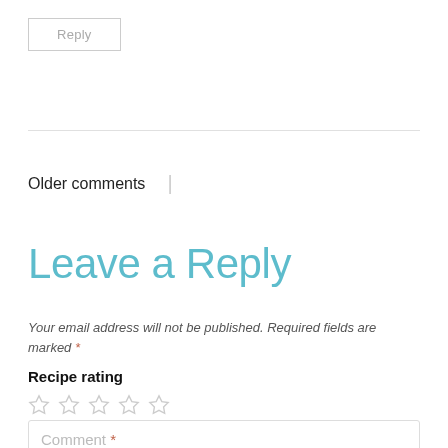Reply
Older comments |
Leave a Reply
Your email address will not be published. Required fields are marked *
Recipe rating
[Figure (other): Five empty star rating icons]
Comment *